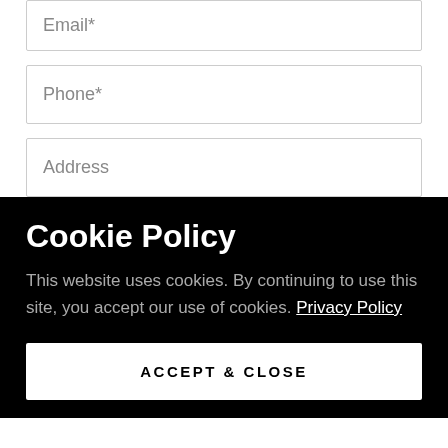Email*
Phone*
Address
Cookie Policy
This website uses cookies. By continuing to use this site, you accept our use of cookies. Privacy Policy
ACCEPT & CLOSE